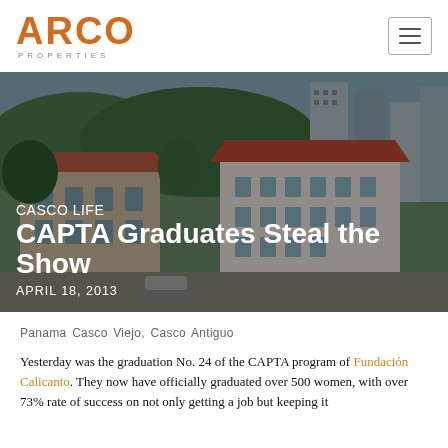ARCO PROPERTIES
[Figure (photo): Aerial/street-level photo of Panama Casco Viejo with colorful colonial buildings, red-tiled roofs, trees, and modern city buildings in background]
CASCO LIFE
CAPTA Graduates Steal the Show
APRIL 18, 2013
Panama Casco Viejo, Casco Antiguo
Yesterday was the graduation No. 24 of the CAPTA program of Fundación Calicanto. They now have officially graduated over 500 women, with over 73% rate of success on not only getting a job but keeping it